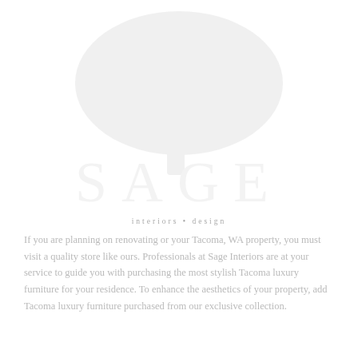[Figure (logo): SAGE Interiors logo — large decorative tree illustration above the word SAGE in large spaced serif letters, very faint/watermark style]
interiors • design
If you are planning on renovating or your Tacoma, WA property, you must visit a quality store like ours. Professionals at Sage Interiors are at your service to guide you with purchasing the most stylish Tacoma luxury furniture for your residence. To enhance the aesthetics of your property, add Tacoma luxury furniture purchased from our exclusive collection.